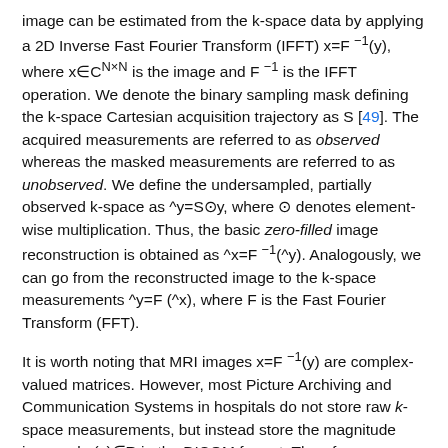image can be estimated from the k-space data by applying a 2D Inverse Fast Fourier Transform (IFFT) x=F⁻¹(y), where x∈C^(N×N) is the image and F⁻¹ is the IFFT operation. We denote the binary sampling mask defining the k-space Cartesian acquisition trajectory as S [49]. The acquired measurements are referred to as observed whereas the masked measurements are referred to as unobserved. We define the undersampled, partially observed k-space as ^y=S⊙y, where ⊙ denotes element-wise multiplication. Thus, the basic zero-filled image reconstruction is obtained as ^x=F⁻¹(^y). Analogously, we can go from the reconstructed image to the k-space measurements ^y=F(^x), where F is the Fast Fourier Transform (FFT).
It is worth noting that MRI images x=F⁻¹(y) are complex-valued matrices. However, most Picture Archiving and Communication Systems in hospitals do not store raw k-space measurements, but instead store the magnitude image abs(x)∈R in the DICOM format. Therefore, we simulate k-space measurements by applying the FFT to the magnitude image y=F(abs(x)). We do not differentiate the notation of an image in R or C hereinafter.
We make use of one of the numerous properties of